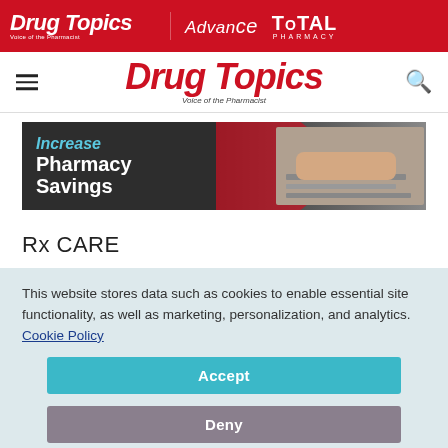Drug Topics | Advance | Total Pharmacy
Drug Topics — Voice of the Pharmacist
[Figure (screenshot): Advertisement banner with dark background showing 'Increase Pharmacy Savings' text and image of pharmacist at keyboard]
Rx CARE
This website stores data such as cookies to enable essential site functionality, as well as marketing, personalization, and analytics. Cookie Policy
Accept
Deny